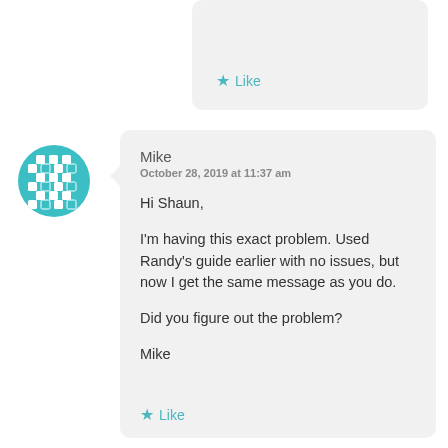[Figure (other): Partial comment card showing a Like button with a star icon]
Like
[Figure (other): Teal circular avatar with a geometric diamond/square pattern]
Mike
October 28, 2019 at 11:37 am
Hi Shaun,

I'm having this exact problem. Used Randy's guide earlier with no issues, but now I get the same message as you do.

Did you figure out the problem?

Mike
Like